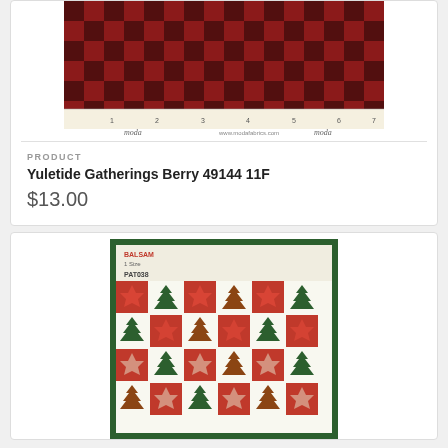[Figure (photo): Red and dark navy buffalo plaid flannel fabric swatch with a ruler showing measurements from 1 to 7, with Moda branding below]
PRODUCT
Yuletide Gatherings Berry 49144 11F
$13.00
[Figure (photo): Balsam quilt pattern book cover featuring a Christmas-themed quilt with red star blocks and green Christmas tree blocks arranged in rows on a white background, with a dark green border]